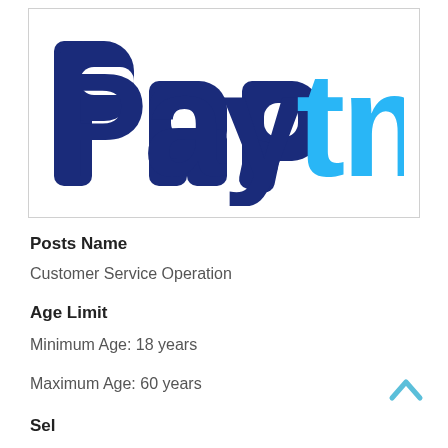[Figure (logo): Paytm logo — 'Pay' in dark navy blue bold rounded letters, 'tm' in bright sky blue bold rounded letters]
Posts Name
Customer Service Operation
Age Limit
Minimum Age: 18 years
Maximum Age: 60 years
Selection